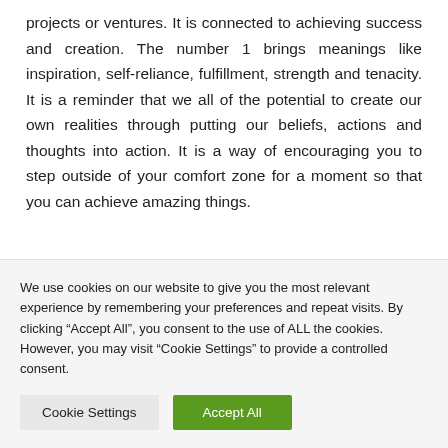projects or ventures. It is connected to achieving success and creation. The number 1 brings meanings like inspiration, self-reliance, fulfillment, strength and tenacity. It is a reminder that we all of the potential to create our own realities through putting our beliefs, actions and thoughts into action. It is a way of encouraging you to step outside of your comfort zone for a moment so that you can achieve amazing things.
We use cookies on our website to give you the most relevant experience by remembering your preferences and repeat visits. By clicking “Accept All”, you consent to the use of ALL the cookies. However, you may visit “Cookie Settings” to provide a controlled consent.